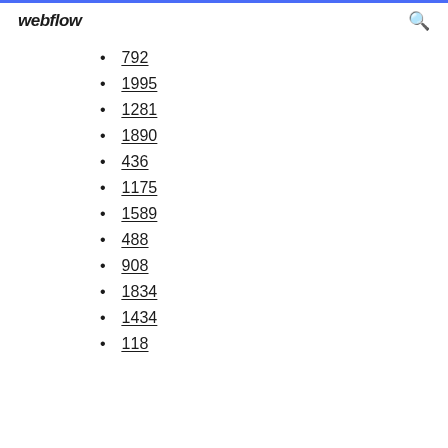webflow
792
1995
1281
1890
436
1175
1589
488
908
1834
1434
118